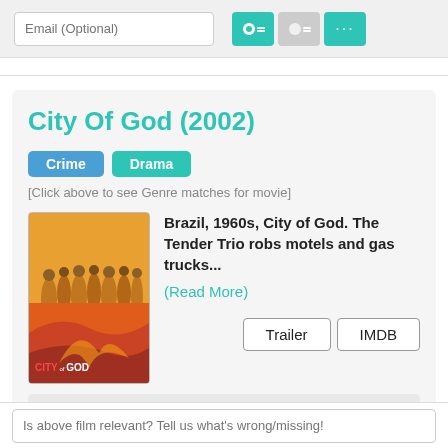[Figure (screenshot): Email input field with optional label and three toggle/action buttons (teal active, gray, teal with dots)]
City Of God (2002)
Crime  Drama
[Click above to see Genre matches for movie]
[Figure (photo): Movie poster for City of God (2002) showing crowd on orange/yellow background with CITY OF GOD text in red and white]
Brazil, 1960s, City of God. The Tender Trio robs motels and gas trucks...
(Read More)
Trailer   IMDB
<< Show/Hide Matches >>
Is above film relevant? Tell us what's wrong/missing!